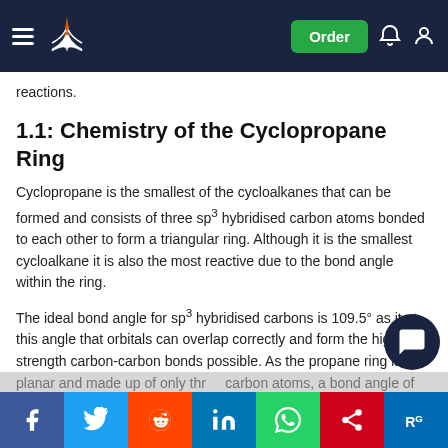Navigation bar with hamburger menu, book/pen logo, Order button, notification and account icons
reactions.
1.1: Chemistry of the Cyclopropane Ring
Cyclopropane is the smallest of the cycloalkanes that can be formed and consists of three sp3 hybridised carbon atoms bonded to each other to form a triangular ring. Although it is the smallest cycloalkane it is also the most reactive due to the bond angle within the ring.
The ideal bond angle for sp3 hybridised carbons is 109.5° as it at this angle that orbitals can overlap correctly and form the highest strength carbon-carbon bonds possible. As the propane ring is planar and made up of only three carbon atoms, a bond angle of 109.5° is not possible and is reduced to a bond angle of ~60°. In order to achieve bond angles of 60°, the atoms adopt 'bent' bonds [8] where their p characteristics are increased
[Figure (screenshot): Social media sharing bar with Facebook, Twitter, Reddit, LinkedIn, WhatsApp, Mendeley, and ResearchGate buttons]